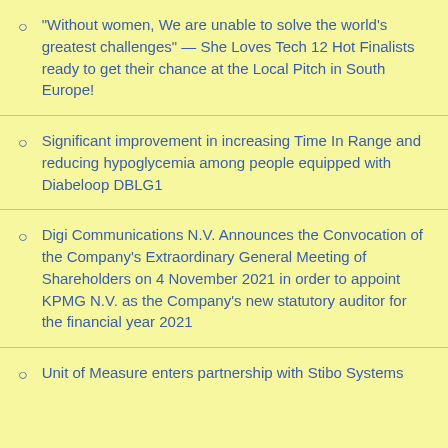“Without women, We are unable to solve the world’s greatest challenges” — She Loves Tech 12 Hot Finalists ready to get their chance at the Local Pitch in South Europe!
Significant improvement in increasing Time In Range and reducing hypoglycemia among people equipped with Diabeloop DBLG1
Digi Communications N.V. Announces the Convocation of the Company’s Extraordinary General Meeting of Shareholders on 4 November 2021 in order to appoint KPMG N.V. as the Company’s new statutory auditor for the financial year 2021
Unit of Measure enters partnership with Stibo Systems